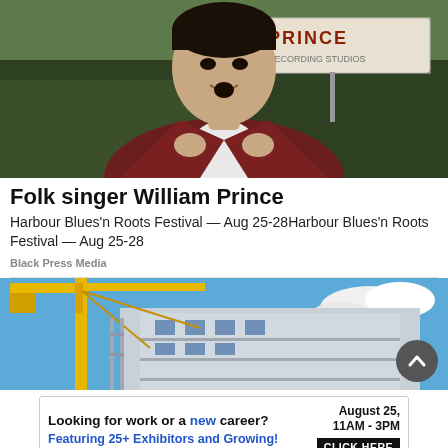[Figure (photo): Man in dark red blazer adjusting lapels, standing in front of a sign reading PRINCE, outdoor setting]
Folk singer William Prince
Harbour Blues'n Roots Festival — Aug 25-28Harbour Blues'n Roots Festival — Aug 25-28
Black Press Media
[Figure (photo): Construction site with yellow crane and partially built building against blue sky with clouds]
[Figure (infographic): Advertisement: Looking for work or a new career? August 25, 11AM–3PM. Featuring 25+ Exhibitors and Growing! CLICK HERE]